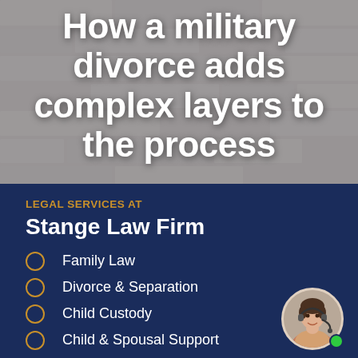How a military divorce adds complex layers to the process
LEGAL SERVICES AT
Stange Law Firm
Family Law
Divorce & Separation
Child Custody
Child & Spousal Support
[Figure (photo): Customer service representative avatar with headset, circular crop, with green online indicator dot]